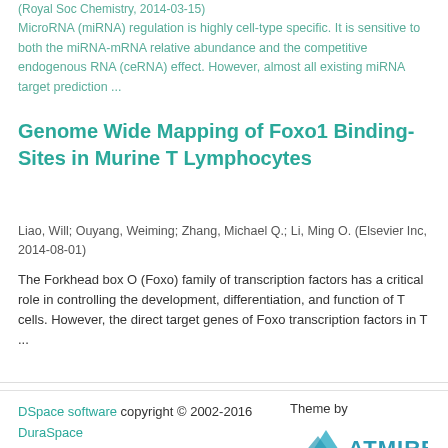(Royal Soc Chemistry, 2014-03-13)
MicroRNA (miRNA) regulation is highly cell-type specific. It is sensitive to both the miRNA-mRNA relative abundance and the competitive endogenous RNA (ceRNA) effect. However, almost all existing miRNA target prediction ...
Genome Wide Mapping of Foxo1 Binding-Sites in Murine T Lymphocytes
Liao, Will; Ouyang, Weiming; Zhang, Michael Q.; Li, Ming O. (Elsevier Inc, 2014-08-01)
The Forkhead box O (Foxo) family of transcription factors has a critical role in controlling the development, differentiation, and function of T cells. However, the direct target genes of Foxo transcription factors in T ...
DSpace software copyright © 2002-2016  DuraSpace  Contact Us | Send Feedback  Theme by  ATMIRE